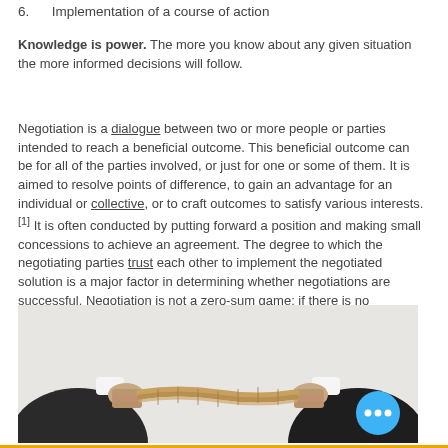6.    Implementation of a course of action
Knowledge is power. The more you know about any given situation the more informed decisions will follow.
Negotiation is a dialogue between two or more people or parties intended to reach a beneficial outcome. This beneficial outcome can be for all of the parties involved, or just for one or some of them. It is aimed to resolve points of difference, to gain an advantage for an individual or collective, or to craft outcomes to satisfy various interests.[1] It is often conducted by putting forward a position and making small concessions to achieve an agreement. The degree to which the negotiating parties trust each other to implement the negotiated solution is a major factor in determining whether negotiations are successful. Negotiation is not a zero-sum game; if there is no cooperation, the negotiation will fail. (wiki dictionary)
[Figure (photo): Two people in suits pulling opposite ends of a rope in a tug-of-war gesture, symbolizing negotiation.]